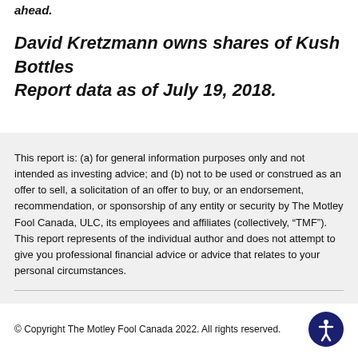ahead.
David Kretzmann owns shares of Kush Bottles Report data as of July 19, 2018.
This report is: (a) for general information purposes only and not intended as investing advice; and (b) not to be used or construed as an offer to sell, a solicitation of an offer to buy, or an endorsement, recommendation, or sponsorship of any entity or security by The Motley Fool Canada, ULC, its employees and affiliates (collectively, “TMF”). This report represents of the individual author and does not attempt to give you professional financial advice or advice that relates to your personal circumstances.
© Copyright The Motley Fool Canada 2022. All rights reserved.